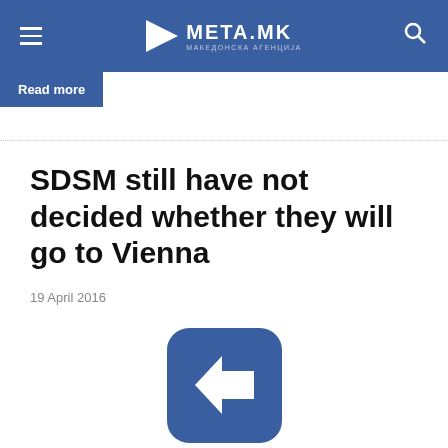META.MK
Read more
SDSM still have not decided whether they will go to Vienna
19 April 2016
[Figure (logo): META.MK logo — blue rounded square with white arrow icon, and META.MK text below]